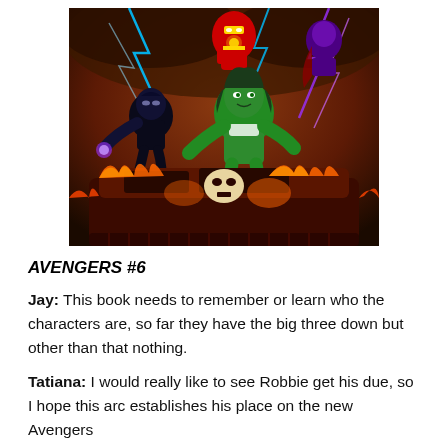[Figure (illustration): Comic book cover art for Avengers #6 showing superheroes including Black Panther, She-Hulk, Iron Man, and others in dynamic action poses with lightning and fire effects]
AVENGERS #6
Jay: This book needs to remember or learn who the characters are, so far they have the big three down but other than that nothing.
Tatiana: I would really like to see Robbie get his due, so I hope this arc establishes his place on the new Avengers